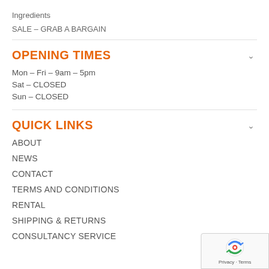Ingredients
SALE – GRAB A BARGAIN
OPENING TIMES
Mon – Fri – 9am – 5pm
Sat – CLOSED
Sun – CLOSED
QUICK LINKS
ABOUT
NEWS
CONTACT
TERMS AND CONDITIONS
RENTAL
SHIPPING & RETURNS
CONSULTANCY SERVICE
[Figure (logo): reCAPTCHA badge with Privacy and Terms links]